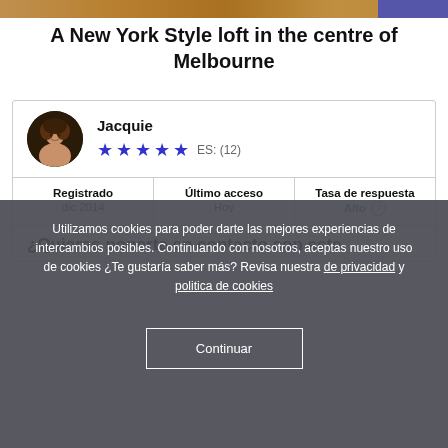[Figure (photo): Top header image: wooden surface texture on left, blue/purple element on right]
A New York Style loft in the centre of Melbourne
| Jacquie | ★★★★★ | ES: (12) |
| Registrado
dic 2014 | Último acceso
Hoy | Tasa de respuesta
Alto ? |
| ¿Quieres ponerte en contacto con este |  |  |
Utilizamos cookies para poder darte las mejores experiencias de intercambios posibles. Continuando con nosotros, aceptas nuestro uso de cookies ¿Te gustaría saber más? Revisa nuestra de privacidad y politica de cookies
Continuar